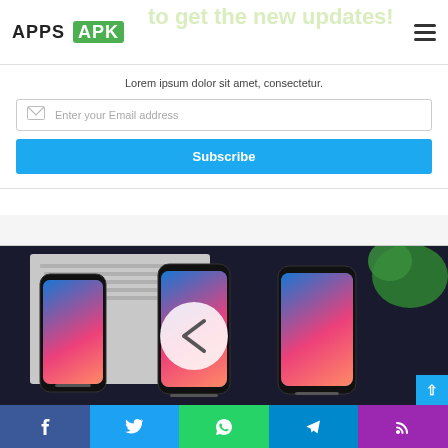APPS APK
to get the new updates!
Lorem ipsum dolor sit amet, consectetur.
Enter your Email address
Subscribe
[Figure (photo): Three Samsung smartphones laid on a dark surface with a green plant leaf visible in the top right corner. A circular left-arrow navigation button overlays the center phone.]
Facebook | Twitter | WhatsApp | Telegram | RSS